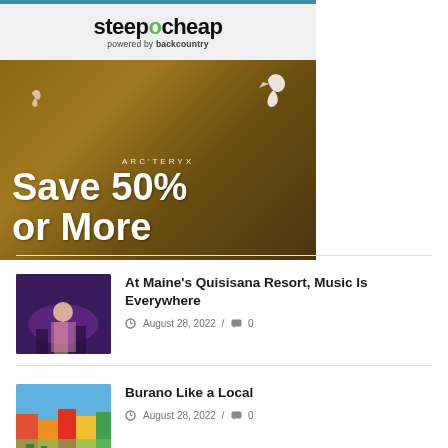[Figure (advertisement): SteepAndCheap powered by backcountry advertisement showing Arc'teryx jacket with text 'Save 50% or More']
[Figure (photo): Theater performers on stage for Maine's Quisisana Resort music article]
At Maine's Quisisana Resort, Music Is Everywhere
August 28, 2022 / 0
[Figure (photo): Colorful buildings in Burano, Italy]
Burano Like a Local
August 28, 2022 / 0